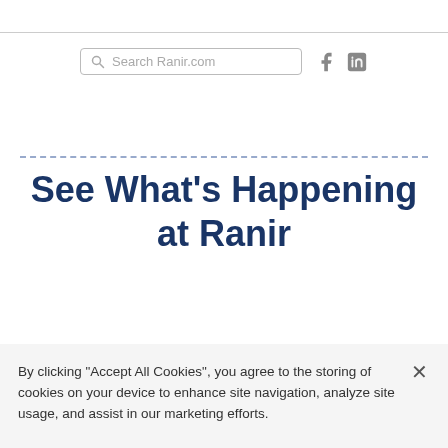[Figure (screenshot): Search bar with placeholder text 'Search Ranir.com' and social icons for Facebook and LinkedIn]
See What's Happening at Ranir
[Figure (illustration): Award ribbon icon in blue with horizontal lines on either side as a decorative divider]
By clicking "Accept All Cookies", you agree to the storing of cookies on your device to enhance site navigation, analyze site usage, and assist in our marketing efforts.